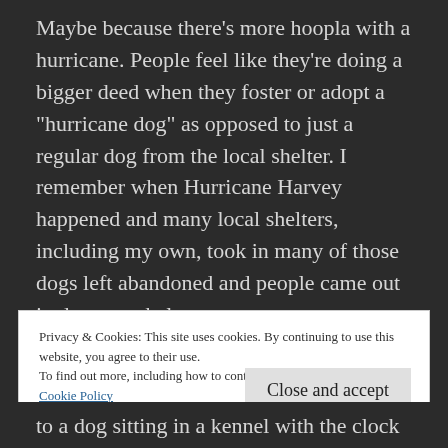Maybe because there's more hoopla with a hurricane. People feel like they're doing a bigger deed when they foster or adopt a "hurricane dog" as opposed to just a regular dog from the local shelter. I remember when Hurricane Harvey happened and many local shelters, including my own, took in many of those dogs left abandoned and people came out in droves to help out.
Privacy & Cookies: This site uses cookies. By continuing to use this website, you agree to their use.
To find out more, including how to control cookies, see here:
Cookie Policy
to a dog sitting in a kennel with the clock